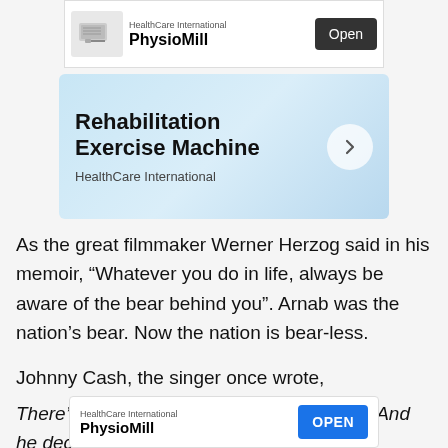[Figure (screenshot): Top ad banner: HealthCare International PhysioMill with Open button]
[Figure (screenshot): Ad card: Rehabilitation Exercise Machine by HealthCare International with arrow button]
As the great filmmaker Werner Herzog said in his memoir, “Whatever you do in life, always be aware of the bear behind you”. Arnab was the nation’s bear. Now the nation is bear-less.
Johnny Cash, the singer once wrote,
There’s a man going around taking names And he decides who to free and who to blame. Everybody won’t [...]omes aroun[...]
[Figure (screenshot): Bottom ad banner: HealthCare International PhysioMill with OPEN button]